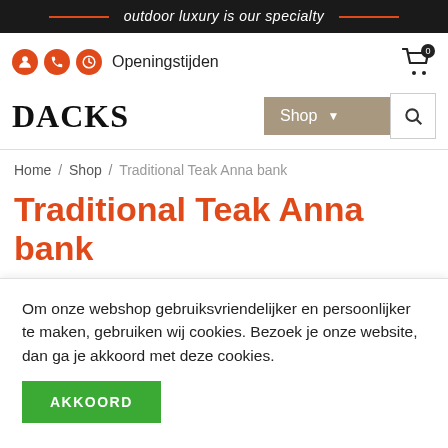outdoor luxury is our specialty
Openingstijden
Dacks
Shop
Home / Shop / Traditional Teak Anna bank
Traditional Teak Anna bank
Meer informatie
Om onze webshop gebruiksvriendelijker en persoonlijker te maken, gebruiken wij cookies. Bezoek je onze website, dan ga je akkoord met deze cookies.
AKKOORD